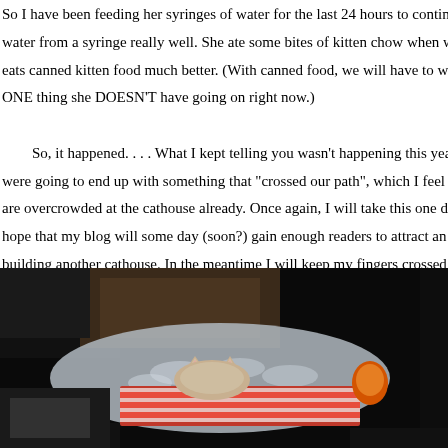So I have been feeding her syringes of water for the last 24 hours to continue to try to water from a syringe really well. She ate some bites of kitten chow when we first bro eats canned kitten food much better. (With canned food, we will have to watch for dia ONE thing she DOESN'T have going on right now.)
So, it happened. . . .    What I kept telling you wasn't happening this year finally di were going to end up with something that "crossed our path", which I feel becomes m are overcrowded at the cathouse already. Once again, I will take this one day at a time hope that my blog will some day (soon?) gain enough readers to attract an advertiser o building another cathouse. In the meantime I will keep my fingers crossed that someo adopt a cat or kitten, or two or three (smile).
Here it is. That first picture. This is how we found this little angel.
[Figure (photo): A photograph showing a small kitten wrapped in or lying on plastic and a red-striped cloth/blanket, viewed from above, with dark background surroundings.]